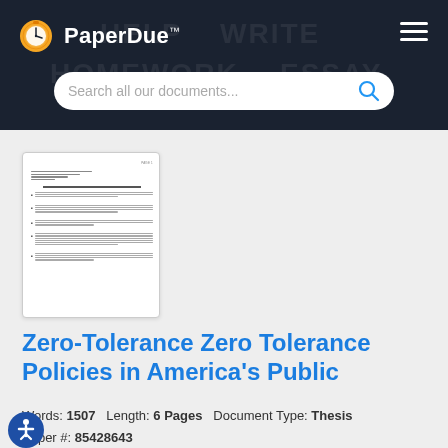PaperDue™
[Figure (screenshot): Search bar with placeholder text 'Search all our documents...' and blue search icon on dark background]
[Figure (photo): Thumbnail preview of a document page with text lines]
Zero-Tolerance Zero Tolerance Policies in America's Public
Words: 1507   Length: 6 Pages   Document Type: Thesis
Paper #: 85428643